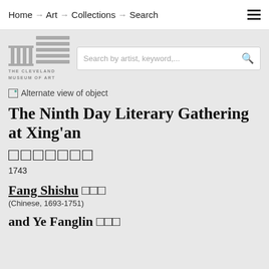Home → Art → Collections → Search
[Figure (logo): The Cleveland Museum of Art logo with stylized building icon and horizontal lines]
Search by artist, keyword,...
[Figure (illustration): Alternate view of object - broken image placeholder]
The Ninth Day Literary Gathering at Xing'an
□□□□□□□
1743
Fang Shishu □□□
(Chinese, 1693-1751)
and Ye Fanglin □□□